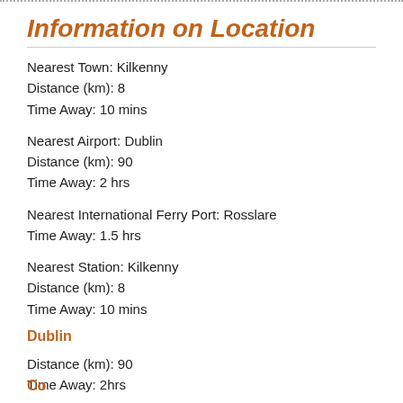Information on Location
Nearest Town: Kilkenny
Distance (km): 8
Time Away: 10 mins
Nearest Airport: Dublin
Distance (km): 90
Time Away: 2 hrs
Nearest International Ferry Port: Rosslare
Time Away: 1.5 hrs
Nearest Station: Kilkenny
Distance (km): 8
Time Away: 10 mins
Dublin
Distance (km): 90
Time Away: 2hrs
Waterford
Distance (km): 50
Time Away: 1 hr